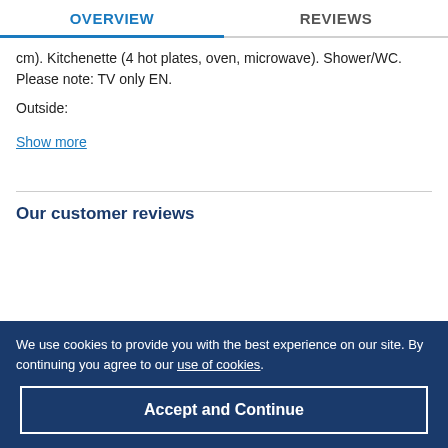OVERVIEW  REVIEWS
cm). Kitchenette (4 hot plates, oven, microwave). Shower/WC. Please note: TV only EN.
Outside:
Show more
Our customer reviews
We use cookies to provide you with the best experience on our site. By continuing you agree to our use of cookies.
Accept and Continue